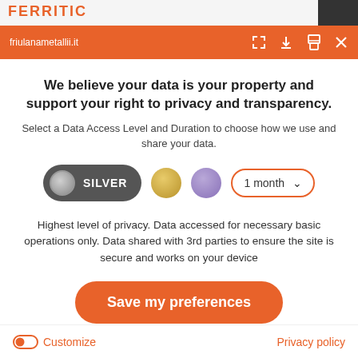FERRITIC
friulanametallii.it
We believe your data is your property and support your right to privacy and transparency.
Select a Data Access Level and Duration to choose how we use and share your data.
[Figure (other): Privacy level selector with SILVER pill button selected, gold circle, purple circle, and 1 month dropdown]
Highest level of privacy. Data accessed for necessary basic operations only. Data shared with 3rd parties to ensure the site is secure and works on your device
Save my preferences
Customize
Privacy policy